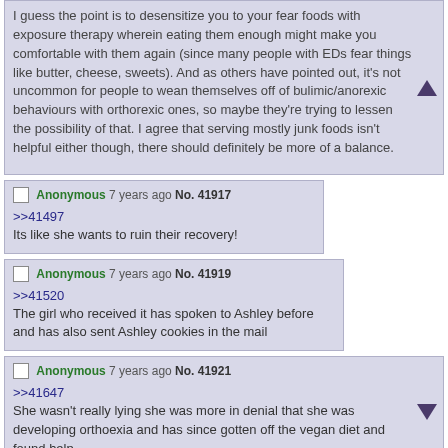I guess the point is to desensitize you to your fear foods with exposure therapy wherein eating them enough might make you comfortable with them again (since many people with EDs fear things like butter, cheese, sweets). And as others have pointed out, it's not uncommon for people to wean themselves off of bulimic/anorexic behaviours with orthorexic ones, so maybe they're trying to lessen the possibility of that. I agree that serving mostly junk foods isn't helpful either though, there should definitely be more of a balance.
Anonymous 7 years ago No. 41917
>>41497
Its like she wants to ruin their recovery!
Anonymous 7 years ago No. 41919
>>41520
The girl who received it has spoken to Ashley before and has also sent Ashley cookies in the mail
Anonymous 7 years ago No. 41921
>>41647
She wasn't really lying she was more in denial that she was developing orthoexia and has since gotten off the vegan diet and found help
Anonymous 7 years ago No. 41980 >>41985 >>41989